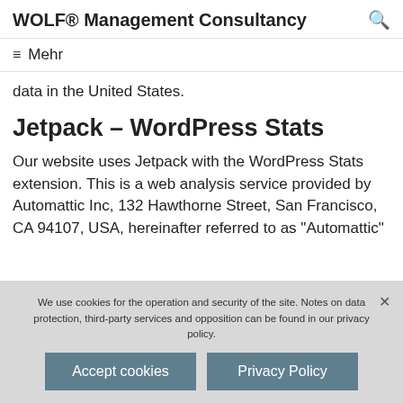WOLF® Management Consultancy
≡ Mehr
data in the United States.
Jetpack – WordPress Stats
Our website uses Jetpack with the WordPress Stats extension. This is a web analysis service provided by Automattic Inc, 132 Hawthorne Street, San Francisco, CA 94107, USA, hereinafter referred to as "Automattic"
We use cookies for the operation and security of the site. Notes on data protection, third-party services and opposition can be found in our privacy policy.
Accept cookies   Privacy Policy